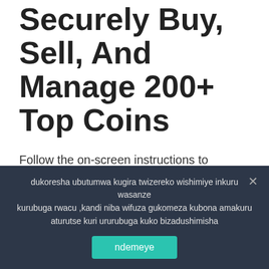Securely Buy, Sell, And Manage 200+ Top Coins
Follow the on-screen instructions to choose your preferred wallet for depositing. The Bitcoin.com Wallet actually consists of separate wallets for each digital asset we support (eg. BTC, BCH, etc.). Additionally, you can make as many individual wallets as you want, a feature that can help you to organize your funds. For example, you can make one Bitcoin wallet called My BTC Savings and
dukoresha ubutumwa kugira twizereko wishimiye inkuru wasanze kurubuga rwacu ,kandi niba wifuza gukomeza kubona amakuru aturutse kuri ururubuga kuko bizadushimisha